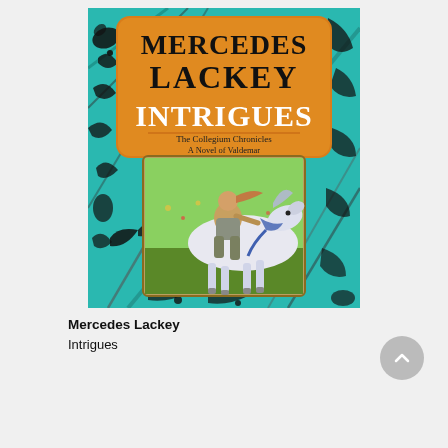[Figure (illustration): Book cover of 'Intrigues' by Mercedes Lackey. The Collegium Chronicles, A Novel of Valdemar. Teal/turquoise background with black decorative floral and sword motifs. Orange rounded rectangle at top with author name 'MERCEDES LACKEY' in large black serif letters and title 'INTRIGUES' in large white letters. Subtitle reads 'The Collegium Chronicles / A Novel of Valdemar'. Center inset illustration shows a young person riding a white horse with blue harness, galloping through a colorful scene.]
Mercedes Lackey
Intrigues